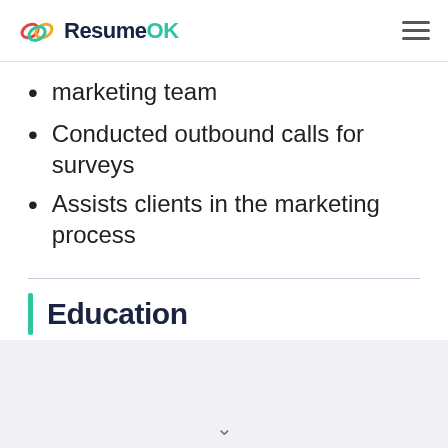ResumeOK
marketing team
Conducted outbound calls for surveys
Assists clients in the marketing process
Education
College, George Fox University
Bachelor of Science, Business Management